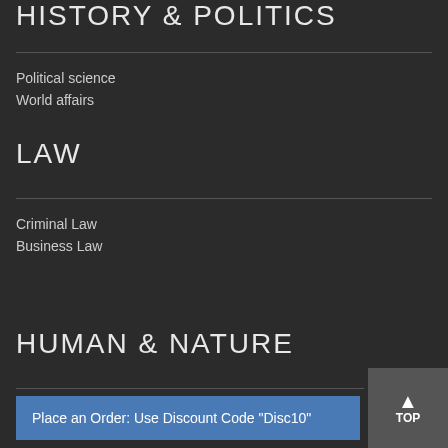HISTORY & POLITICS
Political science
World affairs
LAW
Criminal Law
Business Law
HUMAN & NATURE
Anthropolo...
Place an Order: Use Discount Code "Disc10"